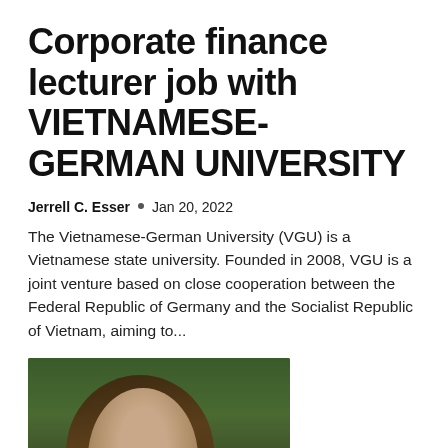Corporate finance lecturer job with VIETNAMESE-GERMAN UNIVERSITY
Jerrell C. Esser  •  Jan 20, 2022
The Vietnamese-German University (VGU) is a Vietnamese state university. Founded in 2008, VGU is a joint venture based on close cooperation between the Federal Republic of Germany and the Socialist Republic of Vietnam, aiming to...
[Figure (photo): Portrait photograph of a woman with long dark hair wearing a white top, photographed outdoors with green blurred background]
D...